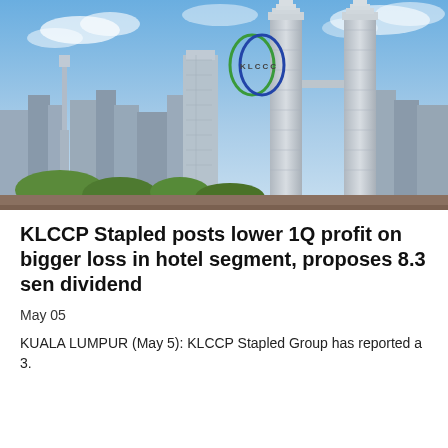[Figure (photo): Aerial/skyline view of Kuala Lumpur city with the Petronas Twin Towers prominent on the right side, and the KLCC logo (two overlapping oval rings in green and blue with 'KLCC' text) visible in the upper-left area of the image. Blue sky with clouds in the background.]
KLCCP Stapled posts lower 1Q profit on bigger loss in hotel segment, proposes 8.3 sen dividend
May 05
KUALA LUMPUR (May 5): KLCCP Stapled Group has reported a 3.